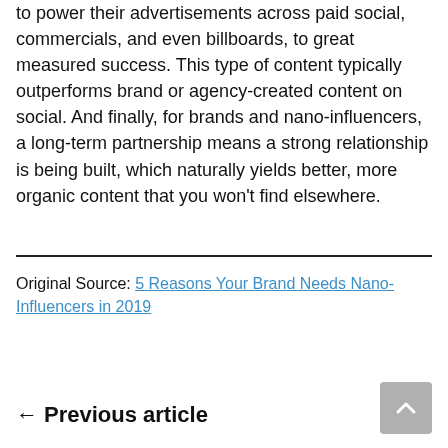to power their advertisements across paid social, commercials, and even billboards, to great measured success. This type of content typically outperforms brand or agency-created content on social. And finally, for brands and nano-influencers, a long-term partnership means a strong relationship is being built, which naturally yields better, more organic content that you won't find elsewhere.
Original Source: 5 Reasons Your Brand Needs Nano-Influencers in 2019
← Previous article